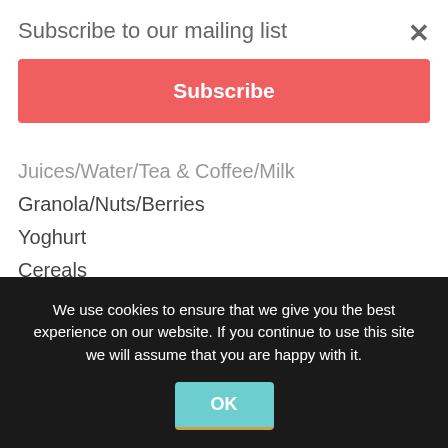Subscribe to our mailing list
Subscribe
Juices/Water/Tea & Coffee/Milk
Granola/Nuts/Berries
Yoghurt
Cereals
Toast and Pastries
Condiments (S&P, Honey, Jams, Butter, Nutella? Etc)
Kilner Jars to fill with granola, yogurts,
We use cookies to ensure that we give you the best experience on our website. If you continue to use this site we will assume that you are happy with it.
OK